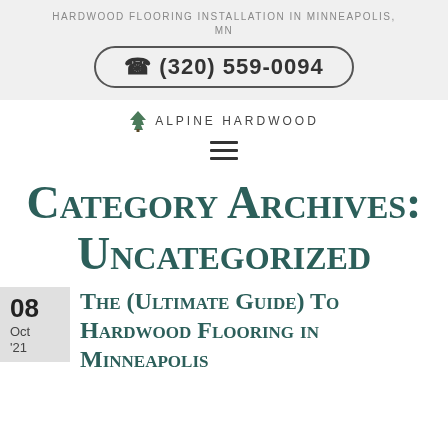HARDWOOD FLOORING INSTALLATION IN MINNEAPOLIS, MN
(320) 559-0094
[Figure (logo): Alpine Hardwood logo with tree icon and text ALPINE HARDWOOD]
[Figure (other): Hamburger menu icon (three horizontal lines)]
Category Archives: Uncategorized
08 Oct '21
The (Ultimate Guide) To Hardwood Flooring in Minneapolis